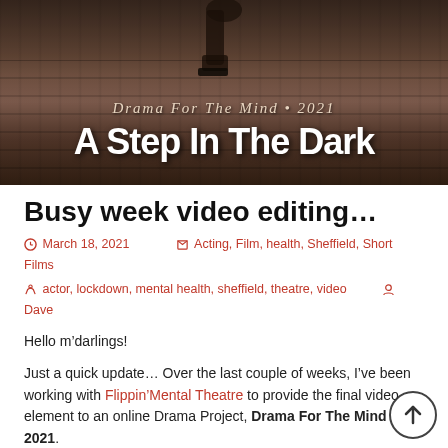[Figure (photo): Film poster image: person's boots walking on wooden boards/pier, sepia/dark brown tones. Text overlay reads 'Drama For The Mind • 2021' and 'A Step In The Dark' in large bold white letters.]
Busy week video editing...
March 18, 2021   Acting, Film, health, Sheffield, Short Films   actor, lockdown, mental health, sheffield, theatre, video   Dave
Hello m'darlings!
Just a quick update... Over the last couple of weeks, I've been working with Flippin'Mental Theatre to provide the final video element to an online Drama Project, Drama For The Mind 2021.